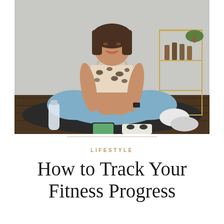[Figure (photo): A woman in a leopard print sports bra and light blue leggings sits cross-legged on a dark yoga mat on a hardwood floor. She faces the camera with fitness accessories around her: a clear water bottle, a smartphone, a digital scale, a white towel, and white sneakers. Behind her is a gold bar cart with bottles and plants against a light grey wall.]
LIFESTYLE
How to Track Your Fitness Progress